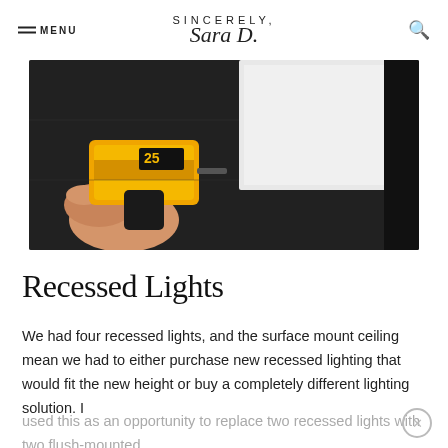MENU | SINCERELY, Sara D. | [search icon]
[Figure (photo): A hand holding a yellow DeWalt drill near a white ceiling tile against a dark ceiling background]
Recessed Lights
We had four recessed lights, and the surface mount ceiling mean we had to either purchase new recessed lighting that would fit the new height or buy a completely different lighting solution. I
used this as an opportunity to replace two recessed lights with two flush-mounted